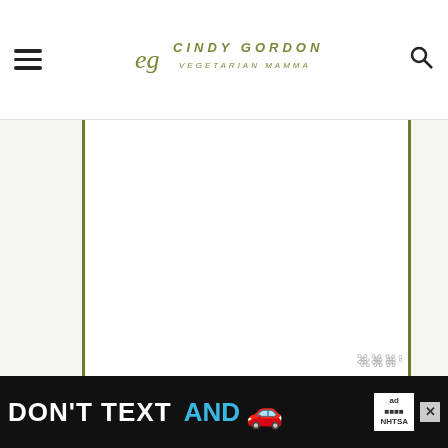Cindy Gordon — Vegetarian Mamma
[Figure (screenshot): White blank ad placeholder area in the main content column]
Video
[Figure (screenshot): Video thumbnail for Bliss Balls recipe with green leaf graphic and food photo, YouTube play button overlay, and a WHAT'S NEXT panel showing Air Fryer Risotto Ball...]
[Figure (infographic): Bottom banner advertisement: DON'T TEXT AND [car emoji] — ad by NHTSA]